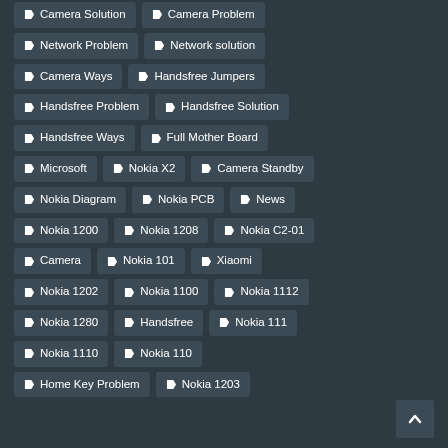Camera Solution
Camera Problem
Network Problem
Network solution
Camera Ways
Handsfree Jumpers
Handsfree Problem
Handsfree Solution
Handsfree Ways
Full Mother Board
Microsoft
Nokia X2
Camera Standby
Nokia Diagram
Nokia PCB
News
Nokia 1200
Nokia 1208
Nokia C2-01
Camera
Nokia 101
Xiaomi
Nokia 1202
Nokia 1100
Nokia 1112
Nokia 1280
Handsfree
Nokia 111
Nokia 1110
Nokia 110
Home Key Problem
Nokia 1203